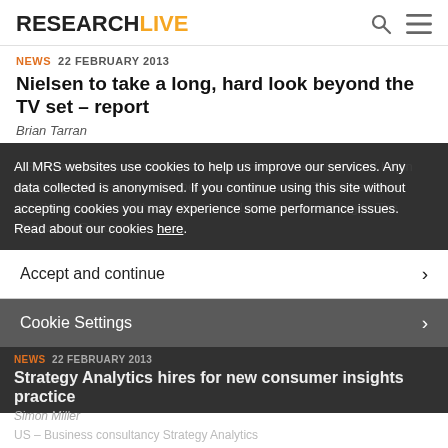RESEARCHLIVE
NEWS   22 FEBRUARY 2013
Nielsen to take a long, hard look beyond the TV set – report
Brian Tarran
US – Nielsen looks set to expand its definition of television and begin reporting data on how many people are consuming TV content via mobile devices and other platforms and services, according to The Hollywood Reporter.
All MRS websites use cookies to help us improve our services. Any data collected is anonymised. If you continue using this site without accepting cookies you may experience some performance issues. Read about our cookies here.
Accept and continue
Cookie Settings
NEWS   22 FEBRUARY 2013
Strategy Analytics hires for new consumer insights practice
Simon Miller
US – Business consultancy Strategy Analytics